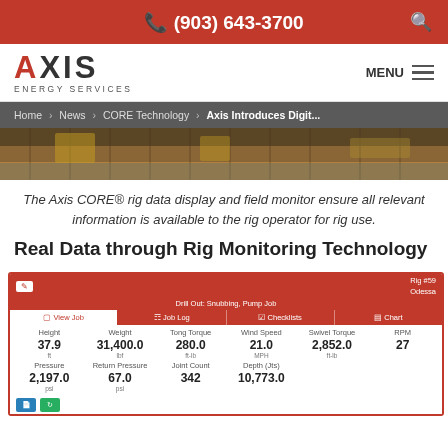(903) 643-3700
[Figure (logo): AXIS Energy Services logo with red A]
Home > News > CORE Technology > Axis Introduces Digit...
[Figure (photo): Photo strip showing industrial rig equipment on metal grating]
The Axis CORE® rig data display and field monitor ensure all relevant information is available to the rig operator for rig use.
Real Data through Rig Monitoring Technology
[Figure (screenshot): Dashboard screenshot showing CORE rig monitoring interface with Rig #59, Odessa. Tabs: View Job, Job Log, Checklists, Chart. Data fields: Height 37.9 ft, Weight 31,400.0 lbf, Tong Torque 280.0 ft-lb, Wind Speed 21.0 MPH, Swivel Torque 2,852.0 ft-lb, RPM 27, Pressure 2,197.0 psi, Return Pressure 67.0 psi, Joint Count 342, Depth (Jts) 10,773.0]